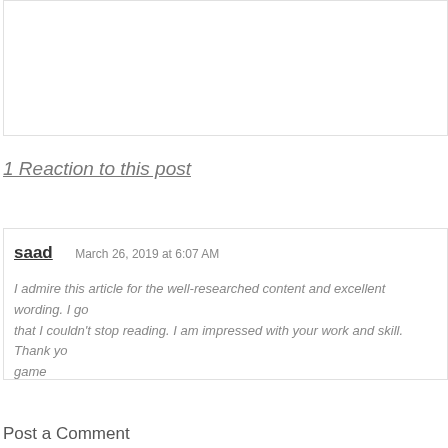1 Reaction to this post
saad   March 26, 2019 at 6:07 AM
I admire this article for the well-researched content and excellent wording. I go that I couldn't stop reading. I am impressed with your work and skill. Thank yo game
Post a Comment